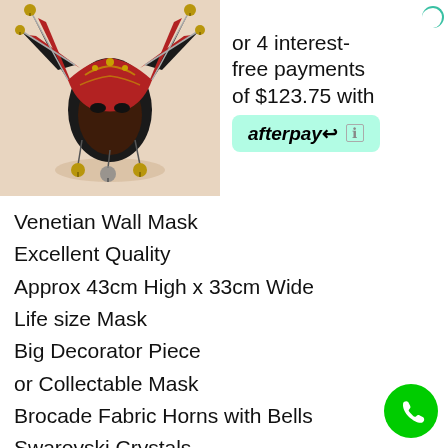[Figure (photo): A Venetian jester wall mask with black and red brocade fabric horns with bells, gold accents, photographed against a light background.]
or 4 interest-free payments of $123.75 with afterpay
Venetian Wall Mask
Excellent Quality
Approx 43cm High x 33cm Wide
Life size Mask
Big Decorator Piece
or Collectable Mask
Brocade Fabric Horns with Bells
Swarovski Crystals
Hand Painted
Can be Partner to other Diana Masks